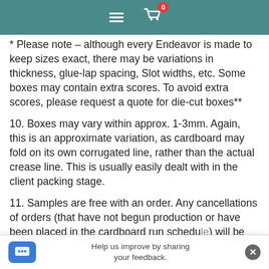[Menu icon] [Cart icon with badge: 0]
* Please note – although every Endeavor is made to keep sizes exact, there may be variations in thickness, glue-lap spacing, Slot widths, etc. Some boxes may contain extra scores. To avoid extra scores, please request a quote for die-cut boxes**
10. Boxes may vary within approx. 1-3mm. Again, this is an approximate variation, as cardboard may fold on its own corrugated line, rather than the actual crease line. This is usually easily dealt with in the client packing stage.
11. Samples are free with an order. Any cancellations of orders (that have not begun production or have been placed in the cardboard run schedule) will be met with a minimum sample/setup charge of $150.00 +GST, per un[it per page].
Help us improve by sharing your feedback.